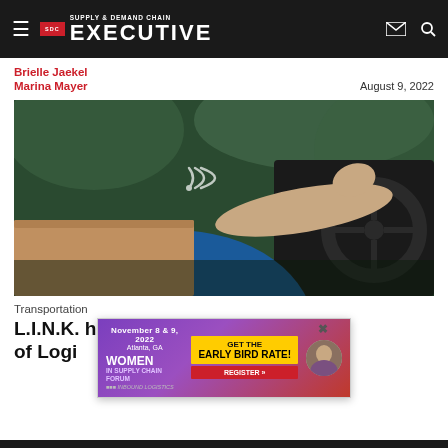Supply & Demand Chain EXECUTIVE
Brielle Jaekel
Marina Mayer
August 9, 2022
[Figure (photo): Delivery driver in blue shirt reaching across steering wheel of vehicle, holding a cardboard package]
Transportation
L.I.N.K. ... the Core of Logi...